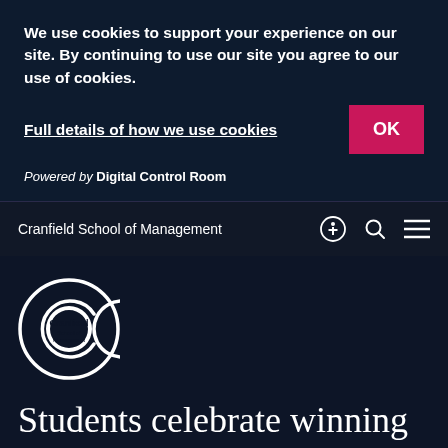We use cookies to support your experience on our site. By continuing to use our site you agree to our use of cookies.
Full details of how we use cookies
OK
Powered by Digital Control Room
Cranfield School of Management
[Figure (logo): Cranfield School of Management circular logo with large C and text inside]
Students celebrate winning the latest Unilever Challenge